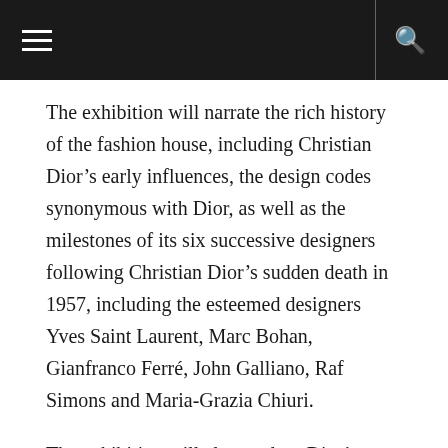[Navigation bar with menu and search icons]
The exhibition will narrate the rich history of the fashion house, including Christian Dior’s early influences, the design codes synonymous with Dior, as well as the milestones of its six successive designers following Christian Dior’s sudden death in 1957, including the esteemed designers Yves Saint Laurent, Marc Bohan, Gianfranco Ferré, John Galliano, Raf Simons and Maria-Grazia Chiuri.
The exhibition will also explore Dior’s unique affinity with Australia, including the historic Spring 1948 fashion parade at David Jones, Sydney, where House models wore 50 original creations by Christian Dior. This is considered the first complete Dior collection to be shown outside of Paris.
“The exhibition will invite Australian and international